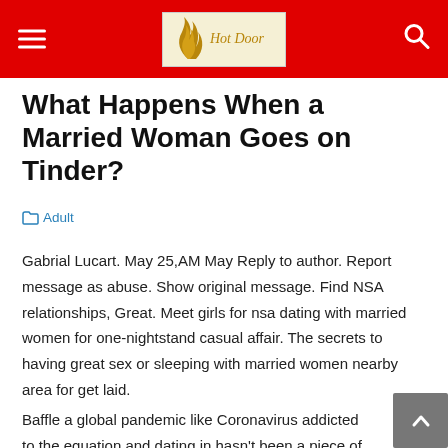Hot Door
What Happens When a Married Woman Goes on Tinder?
Adult
Gabrial Lucart. May 25,AM May Reply to author. Report message as abuse. Show original message. Find NSA relationships, Great. Meet girls for nsa dating with married women for one-nightstand casual affair. The secrets to having great sex or sleeping with married women nearby area for get laid.
Baffle a global pandemic like Coronavirus addicted to the equation and dating in hasn't been a piece of cake. At once